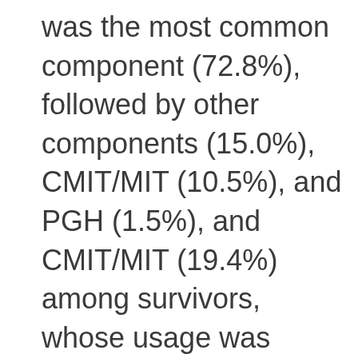was the most common component (72.8%), followed by other components (15.0%), CMIT/MIT (10.5%), and PGH (1.5%), and CMIT/MIT (19.4%) among survivors, whose usage was higher than that among deceased victims. When the components used were